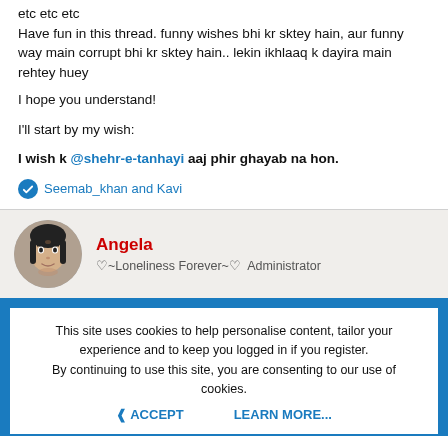etc etc etc
Have fun in this thread. funny wishes bhi kr sktey hain, aur funny way main corrupt bhi kr sktey hain.. lekin ikhlaaq k dayira main rehtey huey

I hope you understand!

I'll start by my wish:

I wish k @shehr-e-tanhayi aaj phir ghayab na hon.
Seemab_khan and Kavi
[Figure (photo): User avatar photo of Angela, a woman with dark hair]
Angela
♡~Loneliness Forever~♡  Administrator
This site uses cookies to help personalise content, tailor your experience and to keep you logged in if you register.
By continuing to use this site, you are consenting to our use of cookies.

ACCEPT    LEARN MORE...